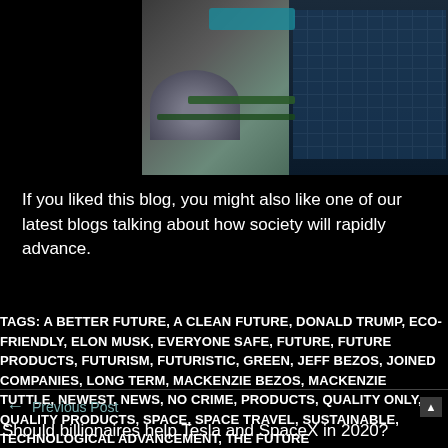[Figure (photo): Aerial view of buildings with solar panels on rooftops and what appears to be a dome structure, surrounded by greenery and a pool area]
If you liked this blog, you might also like one of our latest blogs talking about how society will rapidly advance.
TAGS: A BETTER FUTURE, A CLEAN FUTURE, DONALD TRUMP, ECO-FRIENDLY, ELON MUSK, EVERYONE SAFE, FUTURE, FUTURE PRODUCTS, FUTURISM, FUTURISTIC, GREEN, JEFF BEZOS, JOINED COMPANIES, LONG TERM, MACKENZIE BEZOS, MACKENZIE TUTTLE, NEWEST, NEWS, NO CRIME, PRODUCTS, QUALITY ONLY, QUALITY PRODUCTS, SPACE, SPACE TRAVEL, SUSTAINABLE, TECHNOLOGICAL ADVANCEMENT, THE FUTURE
← Previous Post
Should billionaires help Tesla and SpaceX in 2020?